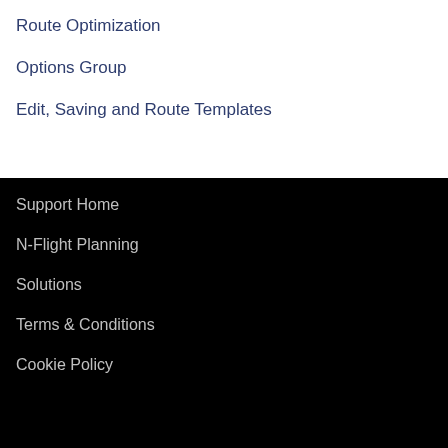Route Optimization
Options Group
Edit, Saving and Route Templates
Support Home
N-Flight Planning
Solutions
Terms & Conditions
Cookie Policy